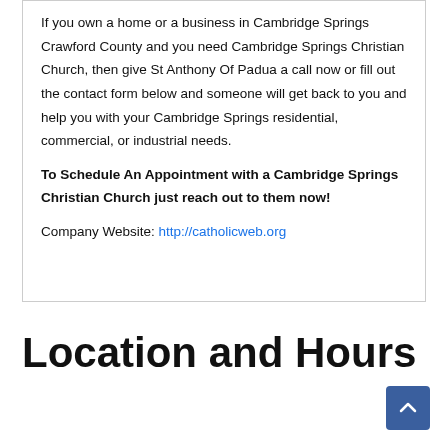If you own a home or a business in Cambridge Springs Crawford County and you need Cambridge Springs Christian Church, then give St Anthony Of Padua a call now or fill out the contact form below and someone will get back to you and help you with your Cambridge Springs residential, commercial, or industrial needs.
To Schedule An Appointment with a Cambridge Springs Christian Church just reach out to them now!
Company Website: http://catholicweb.org
Location and Hours